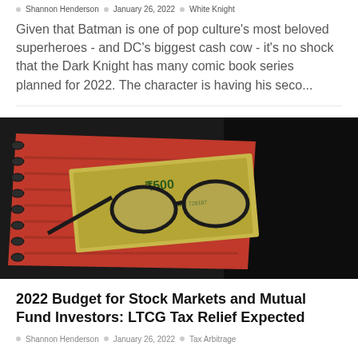Shannon Henderson · January 26, 2022 · White Knight
Given that Batman is one of pop culture's most beloved superheroes - and DC's biggest cash cow - it's no shock that the Dark Knight has many comic book series planned for 2022. The character is having his seco...
[Figure (photo): Photo of a red spiral notebook with Indian currency (500 rupee note) and glasses resting on top, against a dark background]
2022 Budget for Stock Markets and Mutual Fund Investors: LTCG Tax Relief Expected
Shannon Henderson · January 26, 2022 · Tax Arbitrage